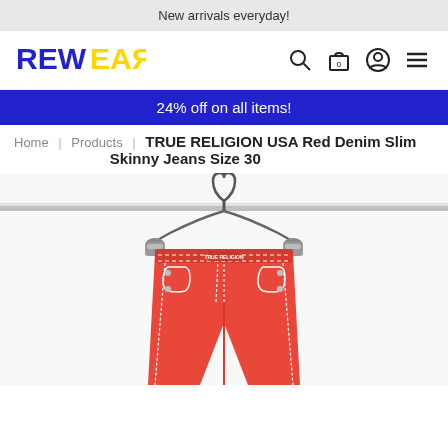New arrivals everyday!
[Figure (logo): REWEAR logo in blue and yellow letters]
24% off on all items!
Home | Products | TRUE RELIGION USA Red Denim Slim Skinny Jeans Size 30
[Figure (photo): Red True Religion slim skinny jeans hanging on a chrome rail with white contrast stitching, size 30]